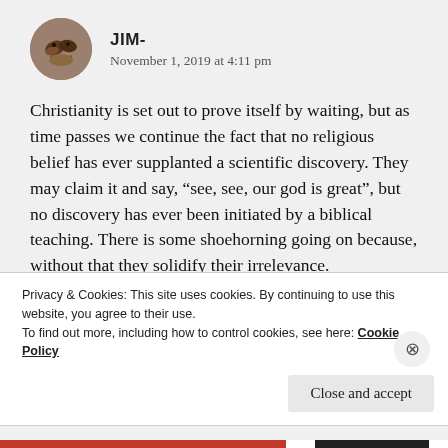JIM-
November 1, 2019 at 4:11 pm
Christianity is set out to prove itself by waiting, but as time passes we continue the fact that no religious belief has ever supplanted a scientific discovery. They may claim it and say, “see, see, our god is great”, but no discovery has ever been initiated by a biblical teaching. There is some shoehorning going on because, without that they solidify their irrelevance.
Privacy & Cookies: This site uses cookies. By continuing to use this website, you agree to their use.
To find out more, including how to control cookies, see here: Cookie Policy
Close and accept